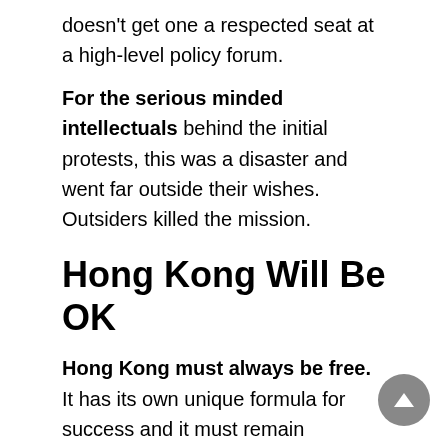doesn't get one a respected seat at a high-level policy forum.
For the serious minded intellectuals behind the initial protests, this was a disaster and went far outside their wishes. Outsiders killed the mission.
Hong Kong Will Be OK
Hong Kong must always be free. It has its own unique formula for success and it must remain unfettered. Get it. If you don't get it, just accept it. China cannot afford any other option. But somebody needs to stop the violence and drive the American and British troublemakers out. It's time to be honest about that. The movement for change was hijacked by violent surrogate actors. Beijing only needs to listen to the core groups seeking assurances of human rights and freedoms. Those rights and freedoms must be delivered.